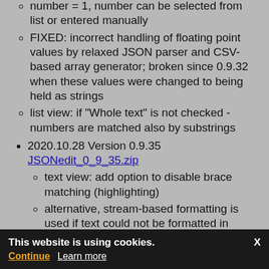changed 'Clone node' dialog: default number = 1, number can be selected from list or entered manually
FIXED: incorrect handling of floating point values by relaxed JSON parser and CSV-based array generator; broken since 0.9.32 when these values were changed to being held as strings
list view: if "Whole text" is not checked - numbers are matched also by substrings
2020.10.28 Version 0.9.35 JSONedit_0_9_35.zip
text view: add option to disable brace matching (highlighting)
alternative, stream-based formatting is used if text could not be formatted in "regular" way as it is not a valid JSON
add to SIB transactions configuration JSON
new subeditor for arrays of objects
This website is using cookies. Continue Learn more X